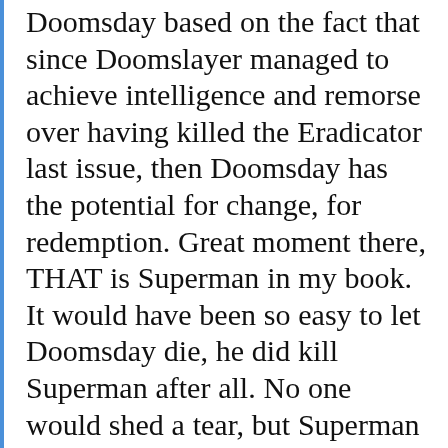Doomsday based on the fact that since Doomslayer managed to achieve intelligence and remorse over having killed the Eradicator last issue, then Doomsday has the potential for change, for redemption. Great moment there, THAT is Superman in my book. It would have been so easy to let Doomsday die, he did kill Superman after all. No one would shed a tear, but Superman